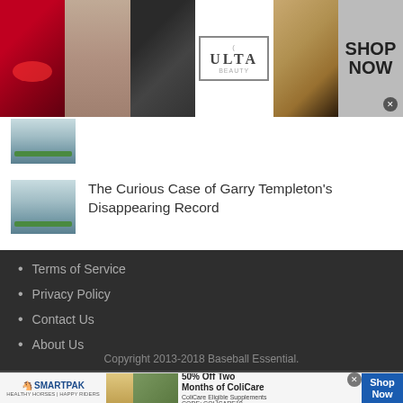[Figure (photo): Top advertisement banner showing makeup/beauty images and Ulta Beauty branding with Shop Now call to action]
[Figure (photo): Small thumbnail of a baseball field]
The Curious Case of Garry Templeton's Disappearing Record
Terms of Service
Privacy Policy
Contact Us
About Us
Copyright 2013-2018 Baseball Essential.
[Figure (photo): SmartPak bottom advertisement banner showing horse supplement product with 50% Off Two Months of ColiCare offer, code COLICARE10]